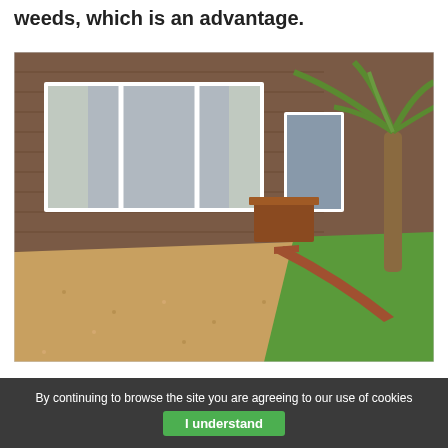weeds, which is an advantage.
[Figure (photo): Photograph of a residential property showing a resin-bound gravel driveway/patio area in golden-brown color, bordered by a brick edging, with green artificial or real grass lawn on the right, a palm tree, and a brick house with white framed windows in the background.]
By continuing to browse the site you are agreeing to our use of cookies  I understand